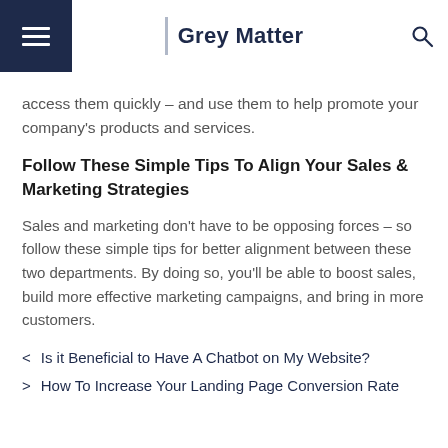Grey Matter
access them quickly – and use them to help promote your company's products and services.
Follow These Simple Tips To Align Your Sales & Marketing Strategies
Sales and marketing don't have to be opposing forces – so follow these simple tips for better alignment between these two departments. By doing so, you'll be able to boost sales, build more effective marketing campaigns, and bring in more customers.
< Is it Beneficial to Have A Chatbot on My Website?
> How To Increase Your Landing Page Conversion Rate